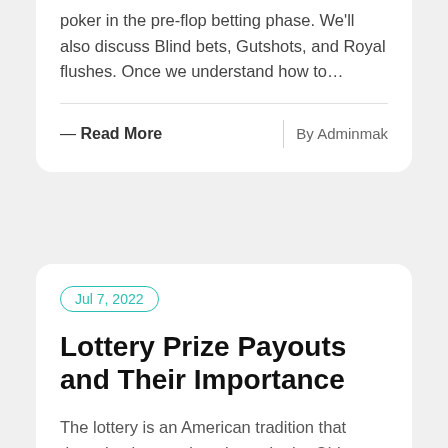poker in the pre-flop betting phase. We'll also discuss Blind bets, Gutshots, and Royal flushes. Once we understand how to…
— Read More | By Adminmak
Jul 7, 2022
Lottery Prize Payouts and Their Importance
The lottery is an American tradition that dates back to ancient times. In the Old Testament, Moses used the lottery to divide land among